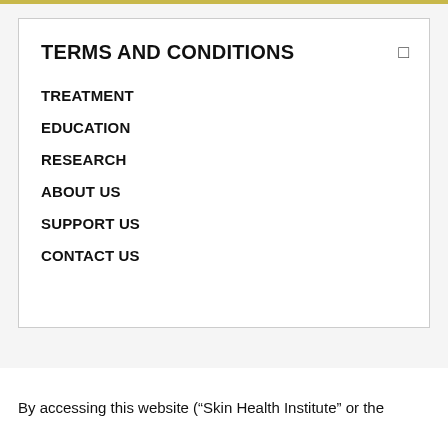TERMS AND CONDITIONS
TREATMENT
EDUCATION
RESEARCH
ABOUT US
SUPPORT US
CONTACT US
By accessing this website (“Skin Health Institute” or the